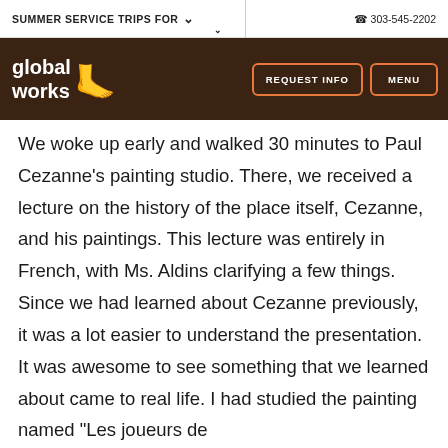SUMMER SERVICE TRIPS FOR  ✓  ¢ 303-545-2202
[Figure (logo): Global Works logo with orange footprint icon, 'REQUEST INFO' and 'MENU' navigation buttons on dark brown background]
We woke up early and walked 30 minutes to Paul Cezanne's painting studio. There, we received a lecture on the history of the place itself, Cezanne, and his paintings. This lecture was entirely in French, with Ms. Aldins clarifying a few things. Since we had learned about Cezanne previously, it was a lot easier to understand the presentation. It was awesome to see something that we learned about came to real life. I had studied the painting named "Les joueurs de